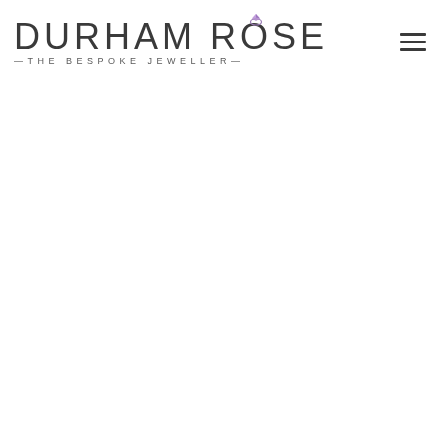[Figure (logo): Durham Rose – The Bespoke Jeweller logo. Large light-weight sans-serif text 'DURHAM ROSE' with a small purple gemstone/ring icon above the letter O in ROSE. Below is the tagline '—THE BESPOKE JEWELLER—' in spaced small caps. To the right is a hamburger menu icon (three horizontal lines).]